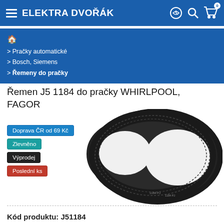ELEKTRA DVOŘÁK
> Pračky automatické
> Bosch, Siemens
> Řemeny do pračky
Řemen J5 1184 do pračky WHIRLPOOL, FAGOR
Doprava ČR od 69 Kč
Zlevněno
Výprodej
Poslední ks
[Figure (photo): Product photo of a black poly-V drive belt J5 1184, shaped in a figure-eight loop showing ribbed inner surface, with text markings on the belt]
Kód produktu: J51184